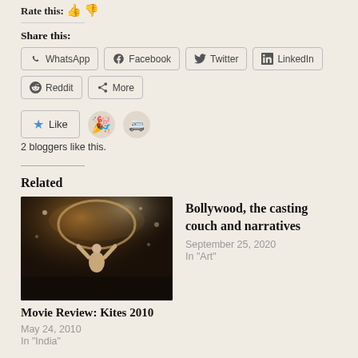Rate this:
Share this:
WhatsApp, Facebook, Twitter, LinkedIn, Reddit, More
Like
2 bloggers like this.
Related
[Figure (photo): A dark concert/movie scene showing a person with raised arms, warm stage lighting]
Movie Review: Kites 2010
May 24, 2010
In "India"
Bollywood, the casting couch and narratives
September 25, 2020
In "Art"